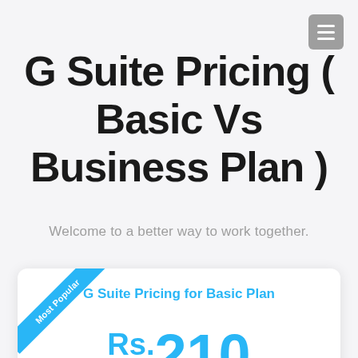G Suite Pricing ( Basic Vs Business Plan )
Welcome to a better way to work together.
G Suite Pricing for Basic Plan
Rs.210 /user/month
Get Business Email through Gmail